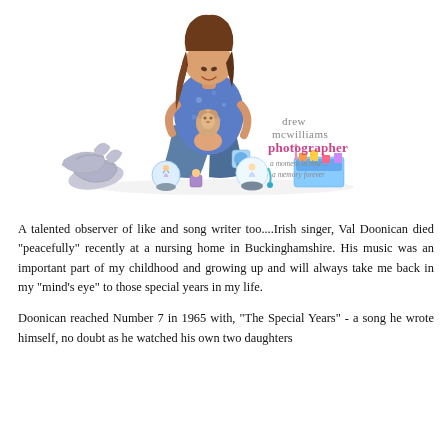[Figure (photo): A young girl with long brown hair sitting cross-legged on a white background, wearing a blue floral top and jeans. She is looking down at a small stuffed animal she is holding. Around her are silver dress-up shoes, snow globes with Cinderella figures, and colorful toys. A watermark reads 'drew mcwilliams photographer - a moment in time... a memory forever'.]
A talented observer of like and song writer too....Irish singer, Val Doonican died "peacefully" recently at a nursing home in Buckinghamshire. His music was an important part of my childhood and growing up and will always take me back in my "mind's eye" to those special years in my life.
Doonican reached Number 7 in 1965 with, "The Special Years" - a song he wrote himself, no doubt as he watched his own two daughters